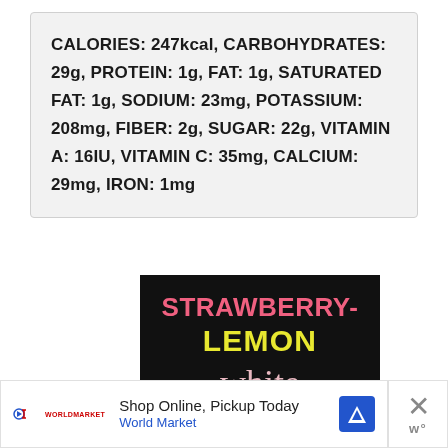CALORIES: 247kcal, CARBOHYDRATES: 29g, PROTEIN: 1g, FAT: 1g, SATURATED FAT: 1g, SODIUM: 23mg, POTASSIUM: 208mg, FIBER: 2g, SUGAR: 22g, VITAMIN A: 16IU, VITAMIN C: 35mg, CALCIUM: 29mg, IRON: 1mg
[Figure (illustration): Dark background promotional image with text: STRAWBERRY-LEMON in pink and yellow bold letters, followed by 'white' and 'sangria' in script font in light pink]
Shop Online, Pickup Today World Market